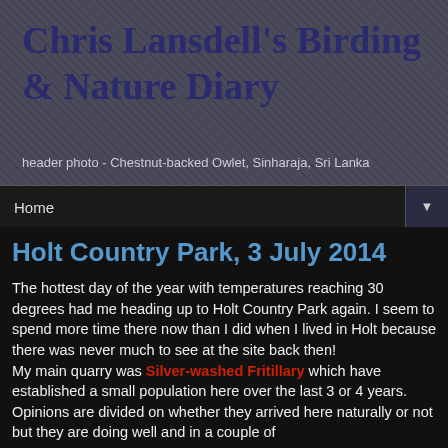Chris Lansdell's Birding & Nature Diary
header photo - Chestnut-backed Owlet, Sinharaja, Sri Lanka
Home ▼
Holt Country Park, 3 July 2014
The hottest day of the year with temperatures reaching 30 degrees had me heading up to Holt Country Park again. I seem to spend more time there now than I did when I lived in Holt because there was never much to see at the site back then!
My main quarry was Silver-washed Fritillary which have established a small population here over the last 3 or 4 years. Opinions are divided on whether they arrived here naturally or not but they are doing well and in a couple of